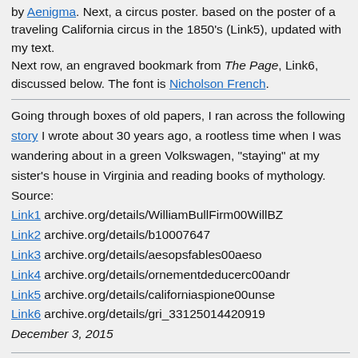by Aenigma. Next, a circus poster. based on the poster of a traveling California circus in the 1850's (Link5), updated with my text.
Next row, an engraved bookmark from The Page, Link6, discussed below. The font is Nicholson French.
Going through boxes of old papers, I ran across the following story I wrote about 30 years ago, a rootless time when I was wandering about in a green Volkswagen, "staying" at my sister's house in Virginia and reading books of mythology.
Source:
Link1 archive.org/details/WilliamBullFirm00WillBZ
Link2 archive.org/details/b10007647
Link3 archive.org/details/aesopsfables00aeso
Link4 archive.org/details/ornementdeducerc00andr
Link5 archive.org/details/californiaspione00unse
Link6 archive.org/details/gri_33125014420919
December 3, 2015
Hanging Fantasies
[Figure (photo): Dark theatrical curtain image with ornate decorative elements, partially visible at bottom of page]